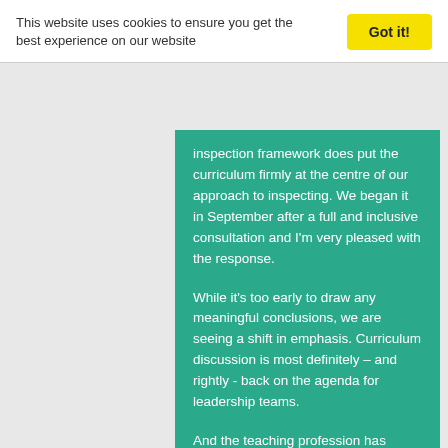This website uses cookies to ensure you get the best experience on our website
Got it!
inspection framework does put the curriculum firmly at the centre of our approach to inspecting. We began it in September after a full and inclusive consultation and I'm very pleased with the response.
While it's too early to draw any meaningful conclusions, we are seeing a shift in emphasis. Curriculum discussion is most definitely – and rightly - back on the agenda for leadership teams.
And the teaching profession has responded with enthusiasm. I'm approached at almost every event I attend by people telling me how rewarding it is to be going back to the fundamentals of education; thinking through what they teach and how best to teach it.